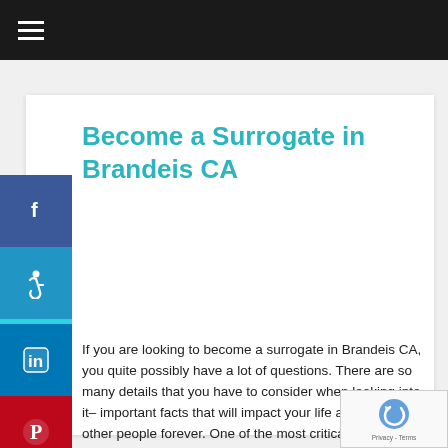≡ (navigation menu)
Become a Surrogate in Brandeis CA
If you are looking to become a surrogate in Brandeis CA, you quite possibly have a lot of questions. There are so many details that you have to consider when looking into it– important facts that will impact your life and the lives of other people forever. One of the most critical steps that you need to take is to investigate and look into several surrogacy centers in Brandeis CA and how they will impact you. To become a surrogate in Brandeis CA, you need to work with a top-rated, productive